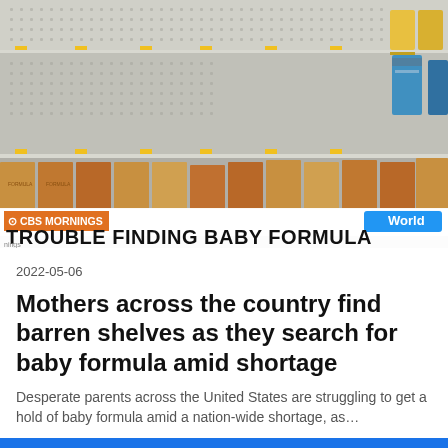[Figure (photo): CBS Mornings news screenshot showing empty store shelves with some baby formula products visible on the right side. Lower portion shows remaining stock on lower shelves. Chyron reads 'TROUBLE FINDING BABY FORMULA' with CBS Mornings logo and 'World' badge.]
2022-05-06
Mothers across the country find barren shelves as they search for baby formula amid shortage
Desperate parents across the United States are struggling to get a hold of baby formula amid a nation-wide shortage, as…